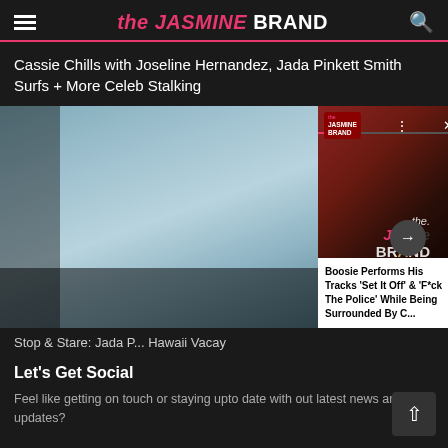the JASMINE BRAND
Cassie Chills with Joseline Hernandez, Jada Pinkett Smith Surfs + More Celeb Stalking
[Figure (screenshot): Media player showing video of Boosie with popup card overlay reading 'Boosie Performs His Tracks Set It Off & F*ck The Police While Being Surrounded By C...' and a smaller still image behind it of a beach/water scene]
Stop & Stare: Jada P... Hawaii Vacay
Let's Get Social
Feel like getting on touch or staying upto date with out latest news and updates?